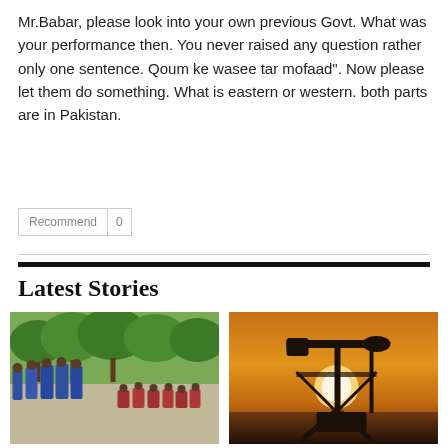Mr.Babar, please look into your own previous Govt. What was your performance then. You never raised any question rather only one sentence. Qoum ke wasee tar mofaad". Now please let them do something. What is eastern or western. both parts are in Pakistan.
Latest Stories
[Figure (photo): Group of students or women in blue outfits standing and sitting outdoors near green trees]
[Figure (photo): Silhouette of an oil pump jack against a golden sunset sky]